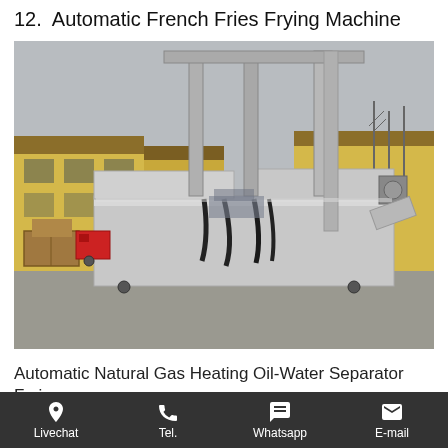12.  Automatic French Fries Frying Machine
[Figure (photo): Photo of an Automatic French Fries Frying Machine — a large stainless steel industrial fryer unit with exhaust pipes, hoses/cables hanging down, a red burner box on the left side, and a motor on the right end, photographed outdoors in an industrial yard with yellow buildings in the background.]
Automatic Natural Gas Heating Oil-Water Separator Frying
Livechat   Tel.   Whatsapp   E-mail